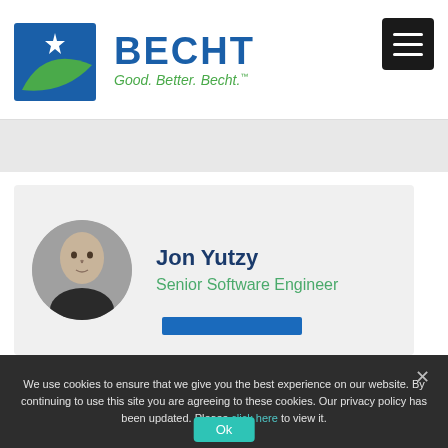[Figure (logo): Becht company logo with blue and green B icon and text 'BECHT Good. Better. Becht.']
Jon Yutzy
Senior Software Engineer
We use cookies to ensure that we give you the best experience on our website. By continuing to use this site you are agreeing to these cookies. Our privacy policy has been updated. Please click here to view it.
Ok